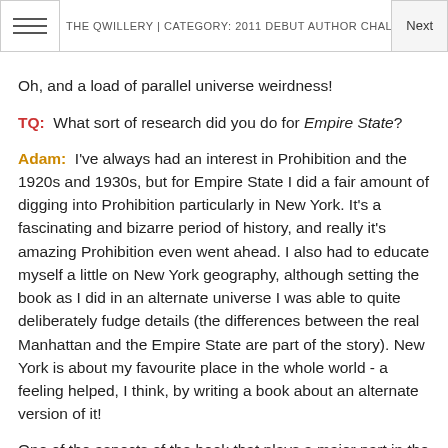THE QWILLERY | CATEGORY: 2011 DEBUT AUTHOR CHALLENGE
Oh, and a load of parallel universe weirdness!
TQ:  What sort of research did you do for Empire State?
Adam:  I've always had an interest in Prohibition and the 1920s and 1930s, but for Empire State I did a fair amount of digging into Prohibition particularly in New York. It's a fascinating and bizarre period of history, and really it's amazing Prohibition even went ahead. I also had to educate myself a little on New York geography, although setting the book as I did in an alternate universe I was able to quite deliberately fudge details (the differences between the real Manhattan and the Empire State are part of the story). New York is about my favourite place in the whole world - a feeling helped, I think, by writing a book about an alternate version of it!
One of the aspects of the book that plays a major part in the plot was actually an accidental discovery made while researching. I